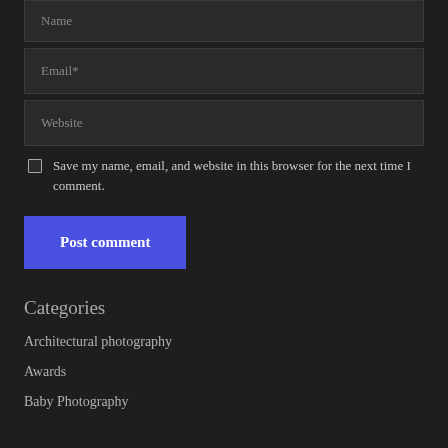Name
Email*
Website
Save my name, email, and website in this browser for the next time I comment.
Post comment
Categories
Architectural photography
Awards
Baby Photography